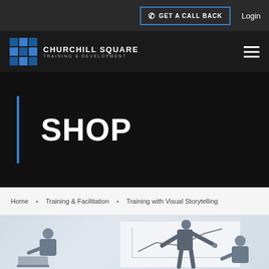GET A CALL BACK | Login
[Figure (logo): Churchill Square Training & Development logo with blue grid icon]
SHOP
Home • Training & Facilitation • Training with Visual Storytelling
[Figure (photo): A person writing on a whiteboard/flipchart with other people watching in a training session]